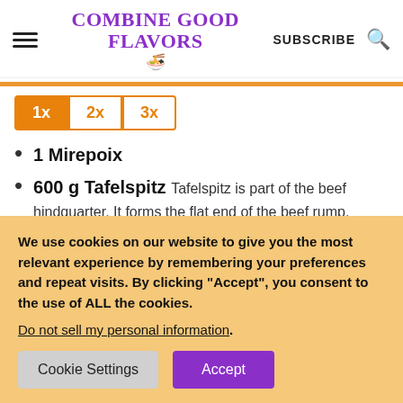COMBINE GOOD FLAVORS — SUBSCRIBE
1 Mirepoix
600 g Tafelspitz Tafelspitz is part of the beef hindquarter. It forms the flat end of the beef rump, tapering to the tail.
We use cookies on our website to give you the most relevant experience by remembering your preferences and repeat visits. By clicking "Accept", you consent to the use of ALL the cookies.
Do not sell my personal information.